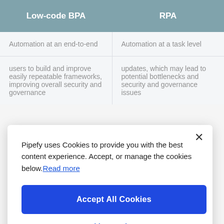| Low-code BPA | RPA |
| --- | --- |
| Automation at an end-to-end level | Automation at a task level |
| users to build and improve easily repeatable frameworks, improving overall security and governance | updates, which may lead to potential bottlenecks and security and governance issues |
Pipefy uses Cookies to provide you with the best content experience. Accept, or manage the cookies below. Read more
Accept All Cookies
Cookies Settings